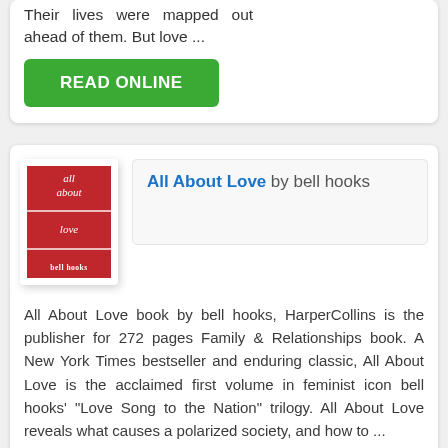Their lives were mapped out ahead of them. But love ...
[Figure (other): Green READ ONLINE button]
[Figure (other): Book cover of 'All About Love' by bell hooks — red cover with italic white text]
All About Love by bell hooks
All About Love book by bell hooks, HarperCollins is the publisher for 272 pages Family & Relationships book. A New York Times bestseller and enduring classic, All About Love is the acclaimed first volume in feminist icon bell hooks' "Love Song to the Nation" trilogy. All About Love reveals what causes a polarized society, and how to ...